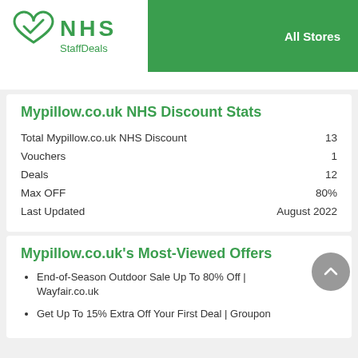[Figure (logo): NHS StaffDeals logo with green heart/checkmark icon and text 'NHS StaffDeals']
All Stores
Mypillow.co.uk NHS Discount Stats
|  |  |
| --- | --- |
| Total Mypillow.co.uk NHS Discount | 13 |
| Vouchers | 1 |
| Deals | 12 |
| Max OFF | 80% |
| Last Updated | August 2022 |
Mypillow.co.uk's Most-Viewed Offers
End-of-Season Outdoor Sale Up To 80% Off | Wayfair.co.uk
Get Up To 15% Extra Off Your First Deal | Groupon